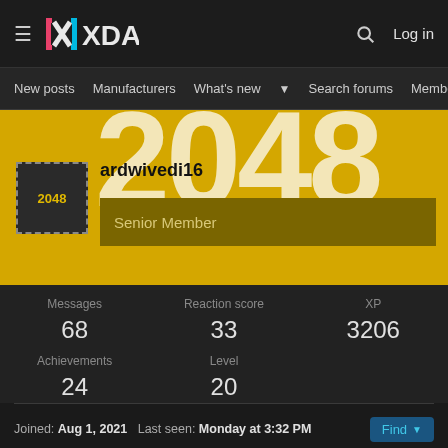XDA — New posts | Manufacturers | What's new | Search forums | Members | Log in
[Figure (screenshot): XDA Developers forum profile page for user ardwivedi16, Senior Member with 68 messages, 33 reaction score, 3206 XP, 24 achievements, level 20, joined Aug 1, 2021, last seen Monday at 3:32 PM]
ardwivedi16
Senior Member
Messages 68   Reaction score 33   XP 3206
Achievements 24   Level 20
Joined: Aug 1, 2021   Last seen: Monday at 3:32 PM